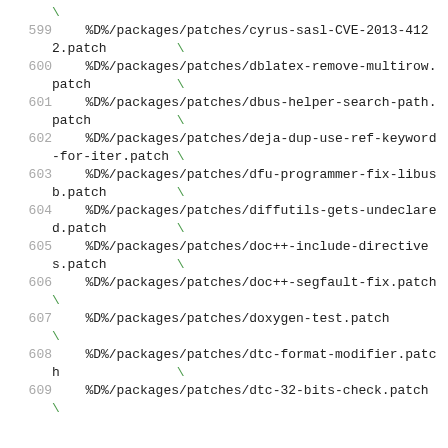Code listing lines 599-609 showing patch file paths with line continuations
599    %D%/packages/patches/cyrus-sasl-CVE-2013-4122.patch \
600    %D%/packages/patches/dblatex-remove-multirow.patch \
601    %D%/packages/patches/dbus-helper-search-path.patch \
602    %D%/packages/patches/deja-dup-use-ref-keyword-for-iter.patch \
603    %D%/packages/patches/dfu-programmer-fix-libusb.patch \
604    %D%/packages/patches/diffutils-gets-undeclared.patch \
605    %D%/packages/patches/doc++-include-directives.patch \
606    %D%/packages/patches/doc++-segfault-fix.patch \
607    %D%/packages/patches/doxygen-test.patch \
608    %D%/packages/patches/dtc-format-modifier.patch \
609    %D%/packages/patches/dtc-32-bits-check.patch